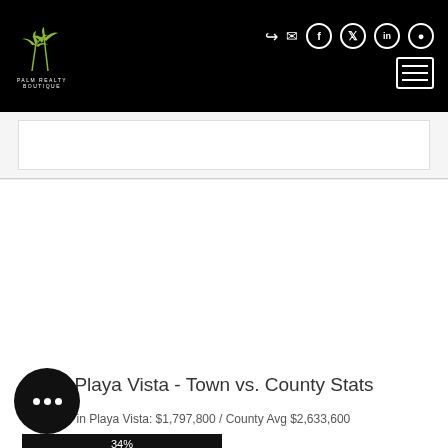[Figure (logo): Palm Realty Boutique logo with palm tree silhouette in yellow-green on black header]
Playa Vista - Town vs. County Stats
Avg Price in Playa Vista: $1,797,800 / County Avg $2,633,600
[Figure (bar-chart): Price bar 34%]
Avg Sq. Ft. in Playa Vista: 2,049 / County Avg 2,411
[Figure (bar-chart): Sq ft bar 42%]
Avg Price per/sqft in Playa Vista:$877 / County Avg $1093